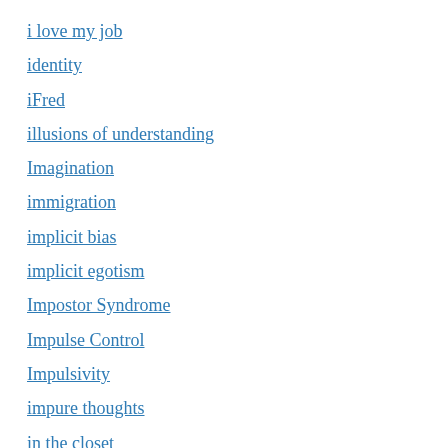i love my job
identity
iFred
illusions of understanding
Imagination
immigration
implicit bias
implicit egotism
Impostor Syndrome
Impulse Control
Impulsivity
impure thoughts
in the closet
Inappropriate Behavior
Independence